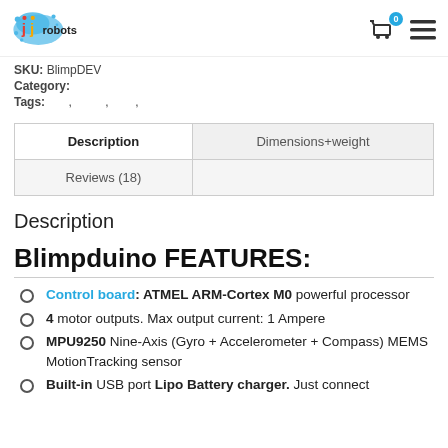jjrobots logo with cart icon (0) and menu icon
SKU: BlimpDEV
Category:
Tags: , , ,
| Description | Dimensions+weight |
| --- | --- |
| Reviews (18) |  |
Description
Blimpduino FEATURES:
Control board: ATMEL ARM-Cortex M0 powerful processor
4 motor outputs. Max output current: 1 Ampere
MPU9250 Nine-Axis (Gyro + Accelerometer + Compass) MEMS MotionTracking sensor
Built-in USB port Lipo Battery charger. Just connect